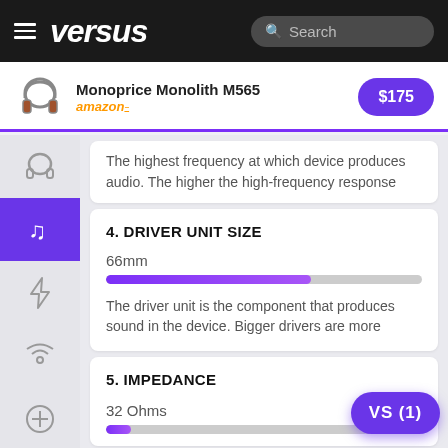versus — Search
Monoprice Monolith M565 — amazon — $175
The highest frequency at which device produces audio. The higher the high-frequency response
4. DRIVER UNIT SIZE
66mm
[Figure (bar-chart): Horizontal progress bar showing 66mm driver unit size, approximately 65% filled with purple gradient]
The driver unit is the component that produces sound in the device. Bigger drivers are more
5. IMPEDANCE
32 Ohms
[Figure (bar-chart): Horizontal progress bar showing 32 Ohms impedance, approximately 8% filled with purple gradient]